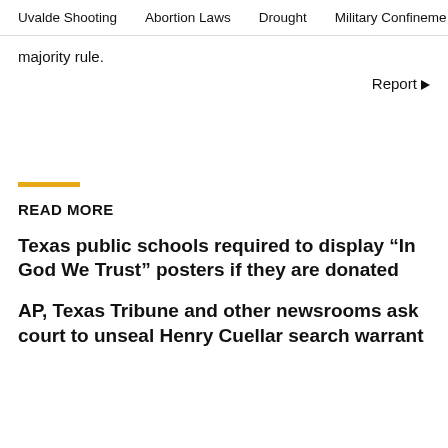Uvalde Shooting  Abortion Laws  Drought  Military Confinement
majority rule.
Report
READ MORE
Texas public schools required to display “In God We Trust” posters if they are donated
AP, Texas Tribune and other newsrooms ask court to unseal Henry Cuellar search warrant